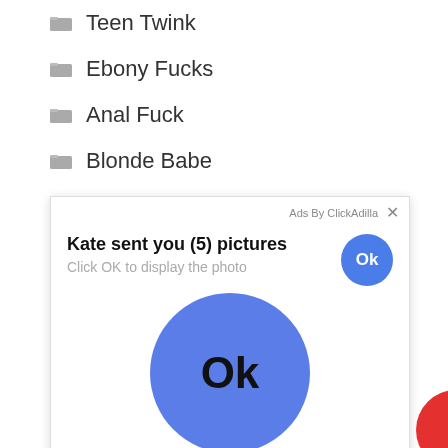Teen Twink
Ebony Fucks
Anal Fuck
Blonde Babe
Teen Gets
[Figure (screenshot): Ad popup from ClickAdilla. Shows 'Kate sent you (5) pictures' with 'Click OK to display the photo' text. Contains two blue circular Ok buttons — one small in top right and one large in center.]
Wife Cheating